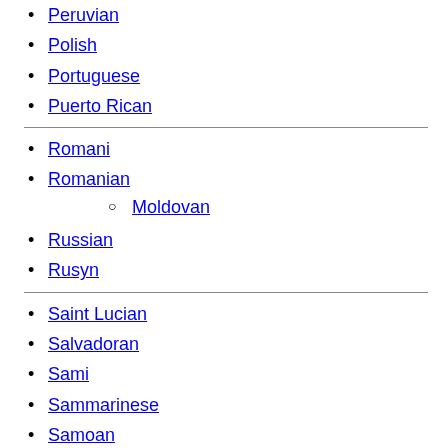Peruvian
Polish
Portuguese
Puerto Rican
Romani
Romanian
Moldovan
Russian
Rusyn
Saint Lucian
Salvadoran
Sami
Sammarinese
Samoan
Saudi
Scotch-Irish
Scottish
Senegalese
Serbian
Sicilian